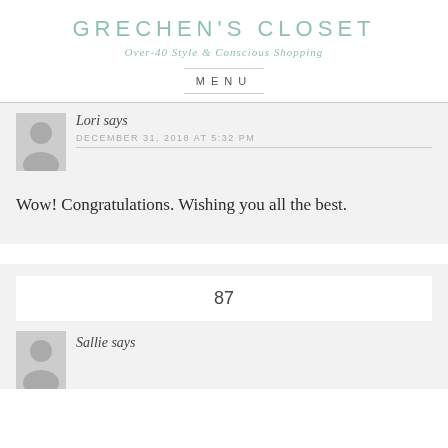GRECHEN'S CLOSET
Over-40 Style & Conscious Shopping
MENU
Lori says
DECEMBER 31, 2018 AT 5:32 PM
Wow! Congratulations. Wishing you all the best.
87
Sallie says